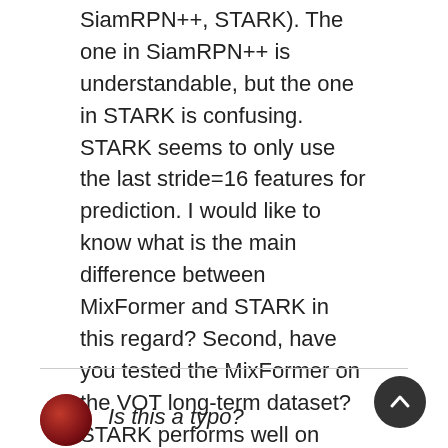SiamRPN++, STARK). The one in SiamRPN++ is understandable, but the one in STARK is confusing. STARK seems to only use the last stride=16 features for prediction. I would like to know what is the main difference between MixFormer and STARK in this regard? Second, have you tested the MixFormer on the VOT long-term dataset? STARK performs well on long-term tracking, and it feels like MixFormer could work better.
Is this a typo?